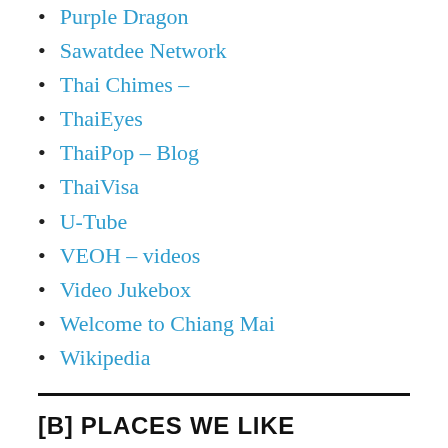Purple Dragon
Sawatdee Network
Thai Chimes –
ThaiEyes
ThaiPop – Blog
ThaiVisa
U-Tube
VEOH – videos
Video Jukebox
Welcome to Chiang Mai
Wikipedia
[B] PLACES WE LIKE
Adam's Apple Club